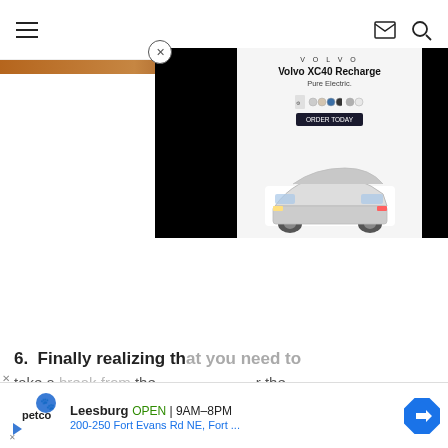Navigation header with hamburger menu, mail icon, and search icon
[Figure (photo): Thin horizontal decorative image bar showing wood-toned texture in brown and reddish hues]
[Figure (screenshot): Volvo XC40 Recharge Pure Electric advertisement overlay popup with close button. Shows Volvo logo, model name, car image, color selector dots, and CTA button. Background panels are black on left and right.]
6.  Finally realizing th[at you need to]
take a [break from] the world. [pursuing h]obbies
[Figure (screenshot): Petco store advertisement banner at bottom showing Petco logo, Leesburg store info: OPEN 9AM-8PM, 200-250 Fort Evans Rd NE, Fort... with navigation arrow icon]